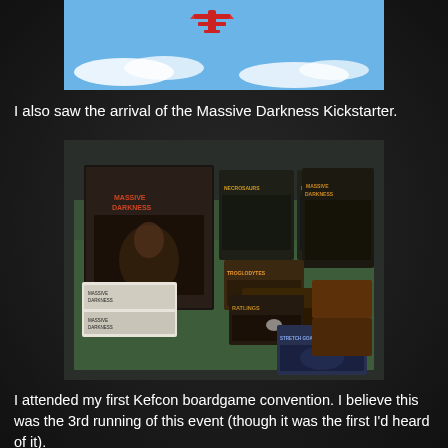[Figure (photo): Top portion of a screenshot showing a red aircraft flying against a blue sky with white clouds]
I also saw the arrival of the Massive Darkness Kickstarter.
[Figure (photo): Photo of Massive Darkness board game Kickstarter boxes and expansions arranged on a green surface, including main box, Troglodytes, Ratlings, Elementals, Necrosaurs expansions and other components]
I attended my first Kefcon boardgame convention. I believe this was the 3rd running of this event (though it was the first I'd heard of it).